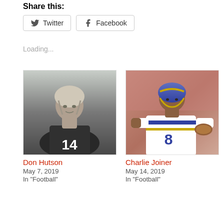Share this:
Twitter  Facebook
Loading...
[Figure (photo): Black and white photo of Don Hutson wearing jersey number 14 and a leather football helmet]
Don Hutson
May 7, 2019
In "Football"
[Figure (photo): Color photo of Charlie Joiner in San Diego Chargers uniform with purple and gold helmet, carrying a football]
Charlie Joiner
May 14, 2019
In "Football"
[Figure (photo): Partial bottom card showing another football player photo, cropped]